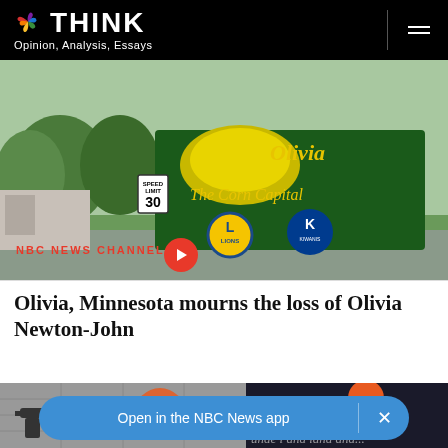NBC THINK — Opinion, Analysis, Essays
[Figure (photo): Outdoor sign for Olivia, Minnesota reading 'The Corn Capital' with a corn graphic, Lions Club and Kiwanis signs visible, trees in background on a sunny day]
NBC NEWS CHANNEL
Olivia, Minnesota mourns the loss of Olivia Newton-John
[Figure (photo): Two article thumbnail images side by side at the bottom: left shows a black and white image of firearms with an orange target; right shows a dark background with 'We the Pe...' (Constitution) and orange circle]
Open in the NBC News app